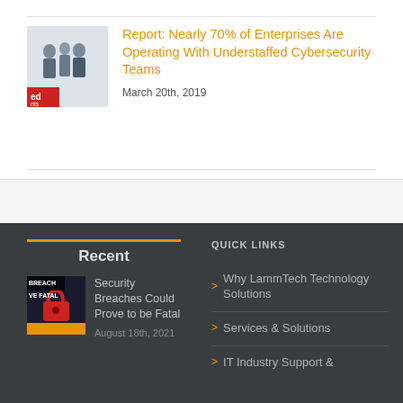[Figure (photo): Thumbnail image of business people standing, with red 'ed' logo overlay]
Report: Nearly 70% of Enterprises Are Operating With Understaffed Cybersecurity Teams
March 20th, 2019
Recent
[Figure (photo): Thumbnail image with text 'BREACH' and 'VE FATAL' overlay on dark background with red padlock]
Security Breaches Could Prove to be Fatal
August 18th, 2021
QUICK LINKS
Why LammTech Technology Solutions
Services & Solutions
IT Industry Support &